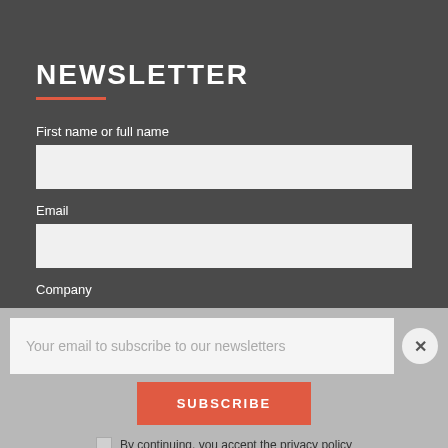NEWSLETTER
First name or full name
Email
Company
Your email to subscribe to our newsletters
SUBSCRIBE
By continuing, you accept the privacy policy